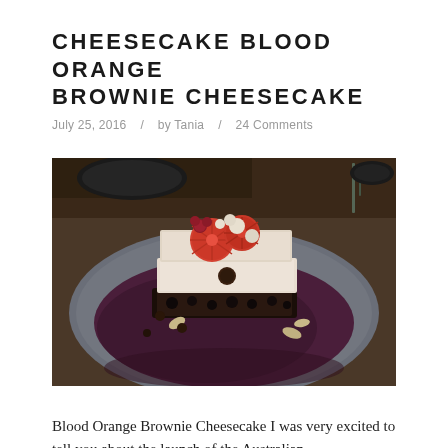CHEESECAKE BLOOD ORANGE BROWNIE CHEESECAKE
July 25, 2016  /  by Tania  /  24 Comments
[Figure (photo): A slice of Blood Orange Brownie Cheesecake served on a dark grey plate, topped with blood orange slices, raspberries, chocolate chips, and crushed nuts, with a deep purple sauce around it. Dark rustic wooden background.]
Blood Orange Brownie Cheesecake I was very excited to tell you about the launch of the Australian